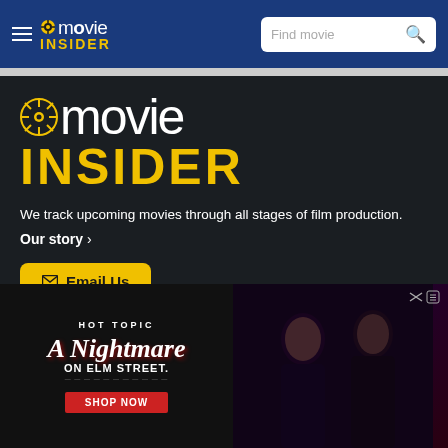movie INSIDER — Find movie [search]
[Figure (logo): Movie Insider large logo with film reel icon, white 'movie' text and yellow 'INSIDER' text on dark background]
We track upcoming movies through all stages of film production.
Our story ›
✉ Email Us
Call Us:  📞  248.387.9826
[Figure (illustration): Hot Topic advertisement banner for A Nightmare on Elm Street merchandise, with 'SHOP NOW' button and two people wearing band/movie merchandise shirts]